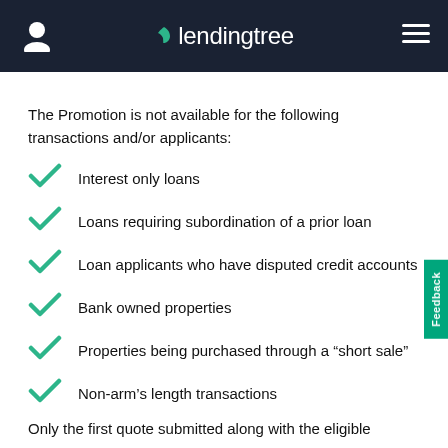lendingtree
The Promotion is not available for the following transactions and/or applicants:
Interest only loans
Loans requiring subordination of a prior loan
Loan applicants who have disputed credit accounts
Bank owned properties
Properties being purchased through a “short sale”
Non-arm’s length transactions
Only the first quote submitted along with the eligible